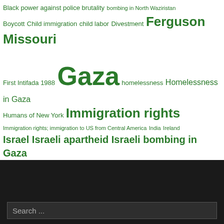[Figure (infographic): Tag cloud of political and social justice topics rendered in varying font sizes in green on white background. Topics include: Black power against police brutality, bombing in North Waziristan, Boycott, Child immigration, child labor, Divestment, Ferguson Missouri, First Intifada 1988, Gaza, homelessness, Homelessness in Gaza, Humans of New York, Immigration rights, Immigration rights; immigration to US from Central America, India, Ireland, Israel, Israeli apartheid, Israeli bombing in Gaza, Israeli ethnic cleansing in Gaza, Israeli ethnic cleansing of Gaza, Israeli siege of Gaza 2014, Kashmir, neoliberalism in Africa, Nigeria, Palestine, Palestinian intifada, Palestinians, Palestinian solidarity, Philippines, Police brutality in Ferguson, Sderot Israel, US-NATO war in Afghanistan, war, West Bank, World Refugee Day 2014, Yemen, Zionist racism.]
[Figure (screenshot): Dark footer area with a search bar containing placeholder text 'Search ...']